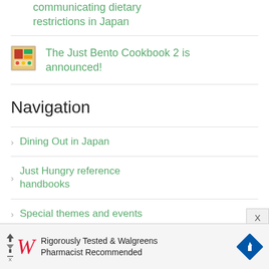communicating dietary restrictions in Japan
The Just Bento Cookbook 2 is announced!
Navigation
Dining Out in Japan
Just Hungry reference handbooks
Special themes and events
[Figure (infographic): Walgreens advertisement: Rigorously Tested & Walgreens Pharmacist Recommended]
X